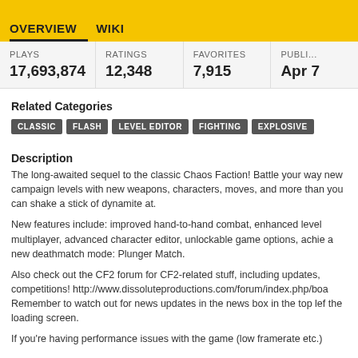OVERVIEW   WIKI
| PLAYS | RATINGS | FAVORITES | PUBLI... |
| --- | --- | --- | --- |
| 17,693,874 | 12,348 | 7,915 | Apr 7 |
Related Categories
CLASSIC
FLASH
LEVEL EDITOR
FIGHTING
EXPLOSIVE
Description
The long-awaited sequel to the classic Chaos Faction! Battle your way new campaign levels with new weapons, characters, moves, and more than you can shake a stick of dynamite at.
New features include: improved hand-to-hand combat, enhanced level multiplayer, advanced character editor, unlockable game options, achie a new deathmatch mode: Plunger Match.
Also check out the CF2 forum for CF2-related stuff, including updates, competitions! http://www.dissoluteproductions.com/forum/index.php/boa Remember to watch out for news updates in the news box in the top lef the loading screen.
If you're having performance issues with the game (low framerate etc.)